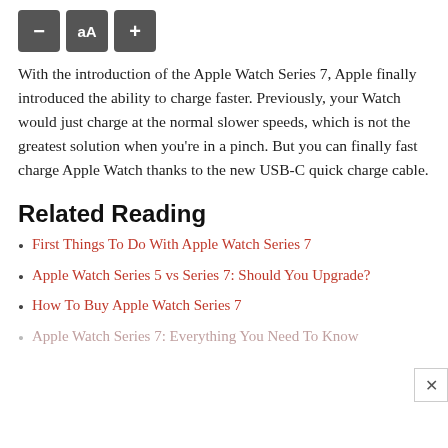[Figure (screenshot): UI toolbar with three buttons: minus (-), double-A font size (aA), and plus (+), rendered as dark gray rounded square buttons with white text.]
With the introduction of the Apple Watch Series 7, Apple finally introduced the ability to charge faster. Previously, your Watch would just charge at the normal slower speeds, which is not the greatest solution when you're in a pinch. But you can finally fast charge Apple Watch thanks to the new USB-C quick charge cable.
Related Reading
First Things To Do With Apple Watch Series 7
Apple Watch Series 5 vs Series 7: Should You Upgrade?
How To Buy Apple Watch Series 7
Apple Watch Series 7: Everything You Need To Know